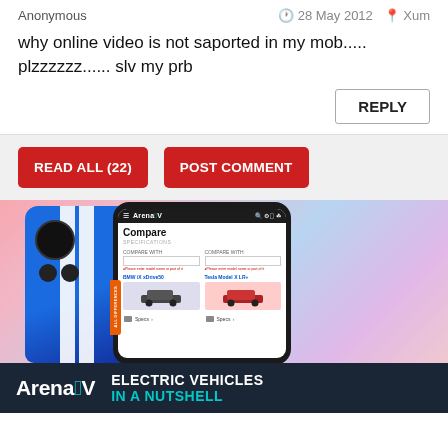Anonymous   28 May 2012   Xum
why online video is not saported in my mob..... plzzzzzz...... slv my prb
REPLY
READ ALL (22)   POST COMMENT
[Figure (photo): Advertisement showing a blue smartphone next to a dark smartphone displaying an ArenaEV compare page, with ArenaEV branding at the bottom and text 'ELECTRIC VEHICLES IN A NUTSHELL']